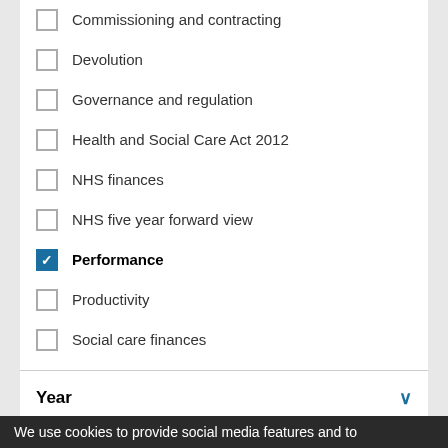Commissioning and contracting
Devolution
Governance and regulation
Health and Social Care Act 2012
NHS finances
NHS five year forward view
Performance (checked)
Productivity
Social care finances
Year
2005
2007
2008
2010
We use cookies to provide social media features and to